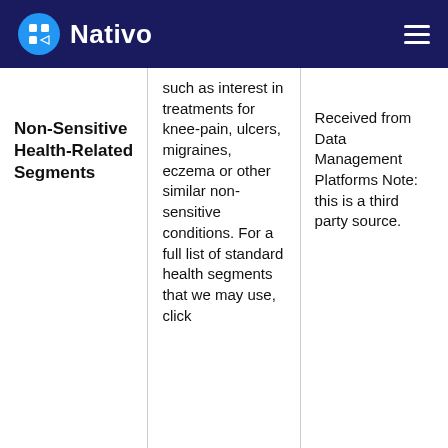Nativo
|  |  |  |
| --- | --- | --- |
| Non-Sensitive Health-Related Segments | such as interest in treatments for knee-pain, ulcers, migraines, eczema or other similar non-sensitive conditions. For a full list of standard health segments that we may use, click | Received from Data Management Platforms Note: this is a third party source. |